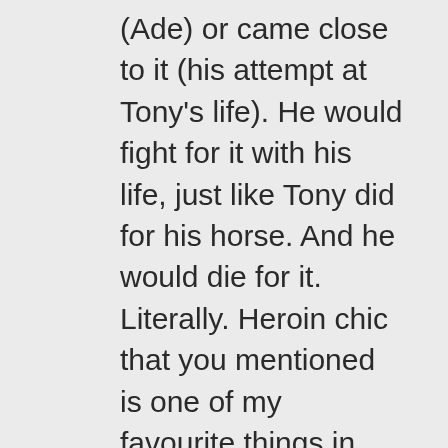(Ade) or came close to it (his attempt at Tony's life). He would fight for it with his life, just like Tony did for his horse. And he would die for it. Literally. Heroin chic that you mentioned is one of my favourite things in cinema: Chris doesn't have it. But Chase captured it perfectly with Corky. Guy Ritchie failed, miserably, to portray it in RocknRolla (2008), while, on the other hand, Bad Lieutenant (1992) and specifically Zoë Lund's scene, are in my opinion, The heroin chic(k) most glorious moment in America's cinema. It even surpases Pulp Fiction (1994) on that. But